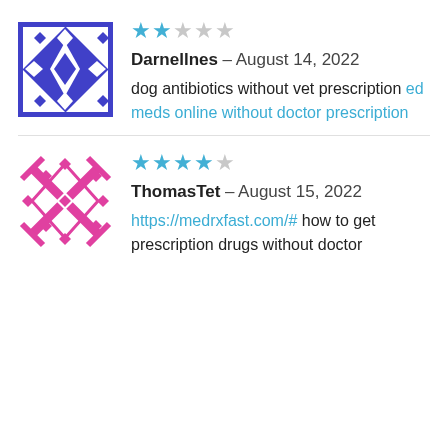[Figure (illustration): Purple geometric avatar with diamond and triangle patterns for user Darnellnes]
★★☆☆☆ Darnellnes – August 14, 2022
dog antibiotics without vet prescription ed meds online without doctor prescription
[Figure (illustration): Pink geometric avatar with X and diamond patterns for user ThomasTet]
★★★★☆ ThomasTet – August 15, 2022
https://medrxfast.com/# how to get prescription drugs without doctor